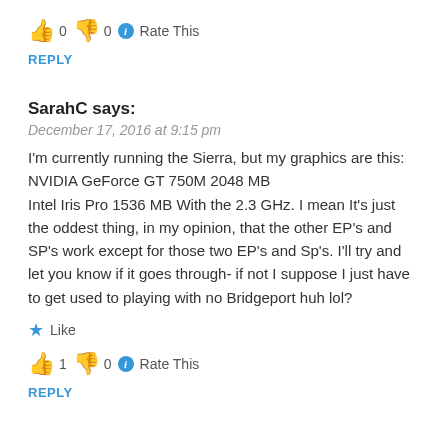👍 0 👎 0 ℹ Rate This
REPLY
SarahC says:
December 17, 2016 at 9:15 pm
I'm currently running the Sierra, but my graphics are this: NVIDIA GeForce GT 750M 2048 MB
Intel Iris Pro 1536 MB With the 2.3 GHz. I mean It's just the oddest thing, in my opinion, that the other EP's and SP's work except for those two EP's and Sp's. I'll try and let you know if it goes through- if not I suppose I just have to get used to playing with no Bridgeport huh lol?
★ Like
👍 1 👎 0 ℹ Rate This
REPLY